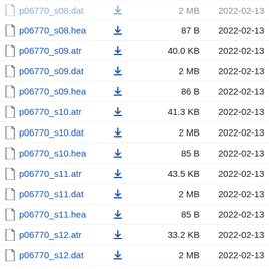p06770_s08.dat  2 MB  2022-02-13
p06770_s08.hea  87 B  2022-02-13
p06770_s09.atr  40.0 KB  2022-02-13
p06770_s09.dat  2 MB  2022-02-13
p06770_s09.hea  86 B  2022-02-13
p06770_s10.atr  41.3 KB  2022-02-13
p06770_s10.dat  2 MB  2022-02-13
p06770_s10.hea  85 B  2022-02-13
p06770_s11.atr  43.5 KB  2022-02-13
p06770_s11.dat  2 MB  2022-02-13
p06770_s11.hea  85 B  2022-02-13
p06770_s12.atr  33.2 KB  2022-02-13
p06770_s12.dat  2 MB  2022-02-13
p06770_s12.hea  86 B  2022-02-13